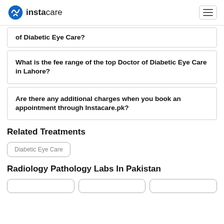instacare
of Diabetic Eye Care?
What is the fee range of the top Doctor of Diabetic Eye Care in Lahore?
Are there any additional charges when you book an appointment through Instacare.pk?
Related Treatments
Diabetic Eye Care
Radiology Pathology Labs In Pakistan
[pill 1] [pill 2] [pill 3]